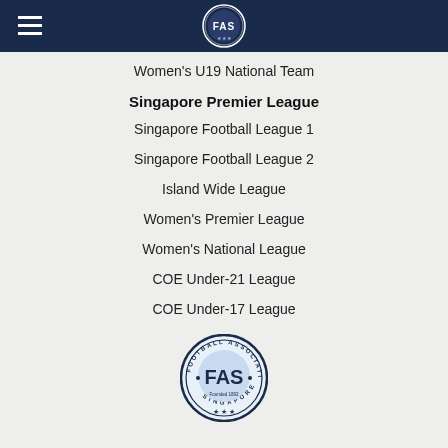[Figure (logo): Football Association of Singapore logo in navy header bar, small version]
Women's U19 National Team
Singapore Premier League
Singapore Football League 1
Singapore Football League 2
Island Wide League
Women's Premier League
Women's National League
COE Under-21 League
COE Under-17 League
[Figure (logo): Football Association of Singapore circular badge logo, larger version at bottom of page]